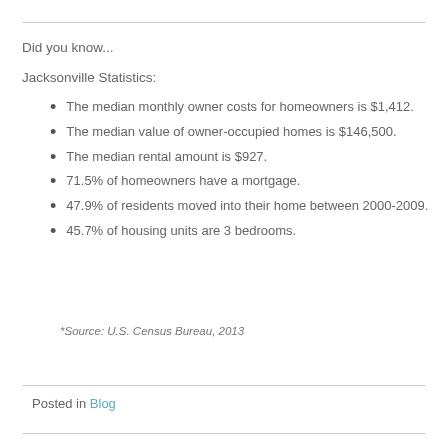Did you know...
Jacksonville Statistics:
The median monthly owner costs for homeowners is $1,412.
The median value of owner-occupied homes is $146,500.
The median rental amount is $927.
71.5% of homeowners have a mortgage.
47.9% of residents moved into their home between 2000-2009.
45.7% of housing units are 3 bedrooms.
*Source: U.S. Census Bureau, 2013
Posted in Blog